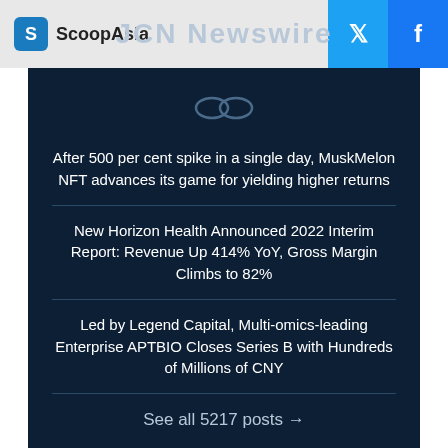ScoopAsia | JCN Newswire
After 500 per cent spike in a single day, MuskMelon NFT advances its game for yielding higher returns
New Horizon Health Announced 2022 Interim Report: Revenue Up 414% YoY, Gross Margin Climbs to 82%
Led by Legend Capital, Multi-omics-leading Enterprise APTBIO Closes Series B with Hundreds of Millions of CNY
See all 5217 posts →